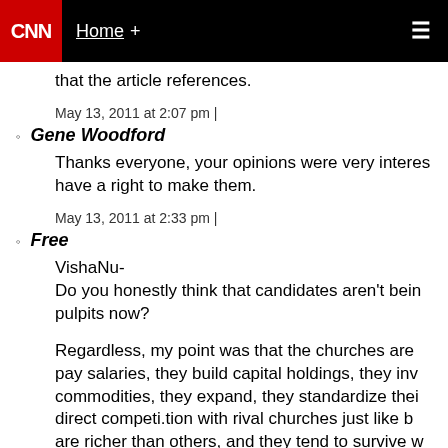CNN | Home +
that the article references.
May 13, 2011 at 2:07 pm |
Gene Woodford
Thanks everyone, your opinions were very interes... have a right to make them.
May 13, 2011 at 2:33 pm |
Free
VishaNu-
Do you honestly think that candidates aren't bein... pulpits now?
Regardless, my point was that the churches are... pay salaries, they build capital holdings, they inv... commodities, they expand, they standardize thei... direct competi.tion with rival churches just like b... are richer than others, and they tend to survive w...